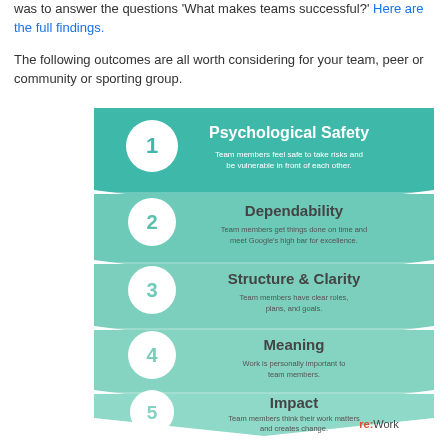was to answer the questions 'What makes teams successful?' Here are the full findings.
The following outcomes are all worth considering for your team, peer or community or sporting group.
[Figure (infographic): A chevron-style infographic listing 5 team success factors from Google's re:Work research. Each layer is a downward-pointing chevron in teal/mint green with a numbered circle on the left. 1: Psychological Safety – Team members feel safe to take risks and be vulnerable in front of each other. 2: Dependability – Team members get things done on time and meet Google's high bar for excellence. 3: Structure & Clarity – Team members have clear roles, plans, and goals. 4: Meaning – Work is personally important to team members. 5: Impact – Team members think their work matters and creates change. Logo: re:Work in bottom right corner.]